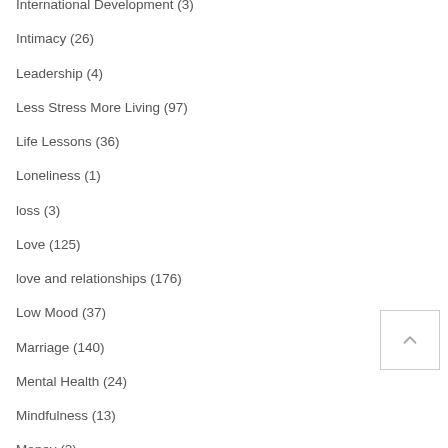International Development (3)
Intimacy (26)
Leadership (4)
Less Stress More Living (97)
Life Lessons (36)
Loneliness (1)
loss (3)
Love (125)
love and relationships (176)
Low Mood (37)
Marriage (140)
Mental Health (24)
Mindfulness (13)
Money (2)
New Year (1)